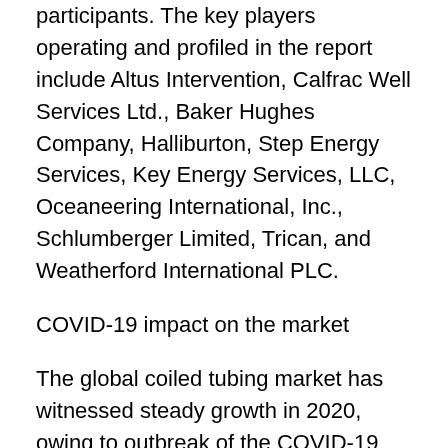participants. The key players operating and profiled in the report include Altus Intervention, Calfrac Well Services Ltd., Baker Hughes Company, Halliburton, Step Energy Services, Key Energy Services, LLC, Oceaneering International, Inc., Schlumberger Limited, Trican, and Weatherford International PLC.
COVID-19 impact on the market
The global coiled tubing market has witnessed steady growth in 2020, owing to outbreak of the COVID-19 pandemic. The outbreak has negatively impacted various industries and countries, thereby decreasing manpower across the globe, which, in turn, decreased consumer spending and thus, decreased the demand for oil & gas products,